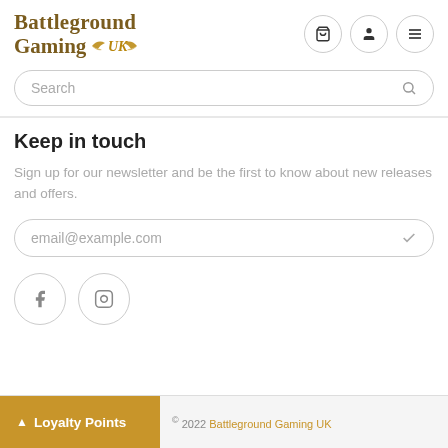[Figure (logo): Battleground Gaming UK logo with gold serif text and wing emblem]
Search
Keep in touch
Sign up for our newsletter and be the first to know about new releases and offers.
email@example.com
[Figure (other): Social media icons: Facebook and Instagram in circular outlines]
© 2022 Battleground Gaming UK